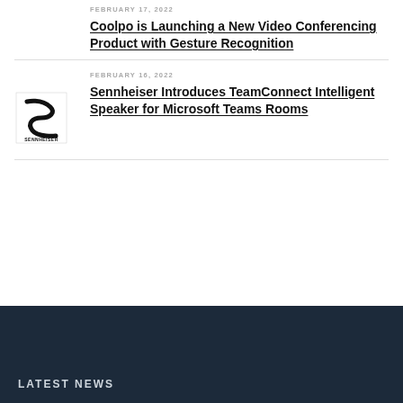FEBRUARY 17, 2022
Coolpo is Launching a New Video Conferencing Product with Gesture Recognition
[Figure (logo): Sennheiser brand logo — stylized S shape with SENNHEISER text below]
FEBRUARY 16, 2022
Sennheiser Introduces TeamConnect Intelligent Speaker for Microsoft Teams Rooms
LATEST NEWS